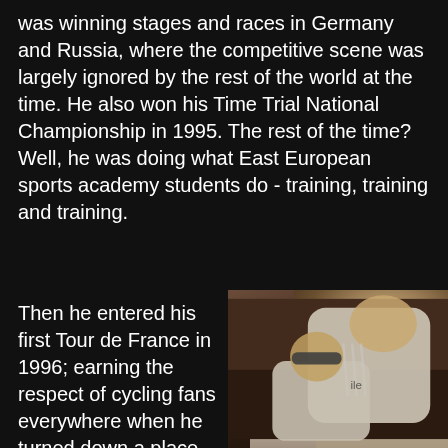was winning stages and races in Germany and Russia, where the competitive scene was largely ignored by the rest of the world at the time. He also won his Time Trial National Championship in 1995. The rest of the time? Well, he was doing what East European sports academy students do - training, training and training.
Then he entered his first Tour de France in 1996; earning the respect of cycling fans everywhere when he turned down a place at the Olympics because, in cycling, the Tour is the ultimate, the most prestigious event bar none. He finished 2nd overall and won the Youth Category, further
[Figure (photo): Two male cyclists at what appears to be a cycling event. The taller man in the back is wearing a grey Adidas polo shirt with a hoop earring. The shorter man in front is wearing sunglasses and a grey polo shirt. Both appear to be at a racing event with spectators visible in the background.]